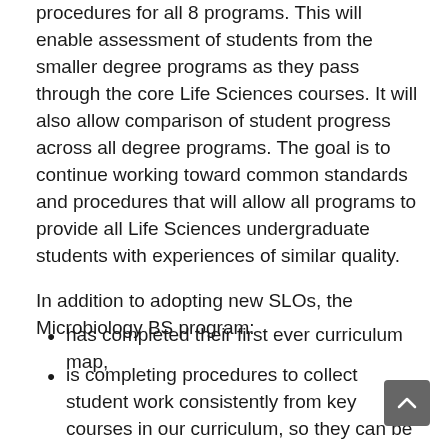procedures for all 8 programs. This will enable assessment of students from the smaller degree programs as they pass through the core Life Sciences courses.  It will also allow comparison of student progress across all degree programs. The goal is to continue working toward common standards and procedures that will allow all programs to provide all Life Sciences undergraduate students with experiences of similar quality.
In addition to adopting new SLOs, the Microbiology BS program:
has completed their first ever curriculum map,
is completing procedures to collect student work consistently from key courses in our curriculum, so they can be combined across years to yield meaningful sample sizes.